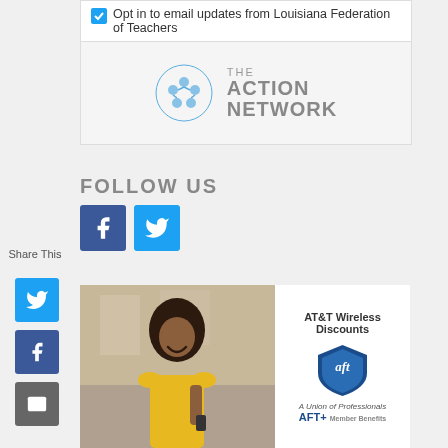Opt in to email updates from Louisiana Federation of Teachers
[Figure (logo): The Action Network logo — circular figure icon in blue plus gray text 'THE ACTION NETWORK']
FOLLOW US
[Figure (logo): Facebook button (dark blue square with white F) and Twitter button (light blue square with white bird)]
Share This
[Figure (logo): Twitter share icon (blue square)]
[Figure (logo): Facebook share icon (dark blue square)]
[Figure (logo): Email share icon (gray square)]
[Figure (logo): Share/ShareThis icon (green square)]
[Figure (photo): AT&T Wireless Discounts advertisement showing a smiling woman with curly hair in a yellow top on the left, and AT&T/AFT+ Member Benefits branding on the right with AFT shield logo]